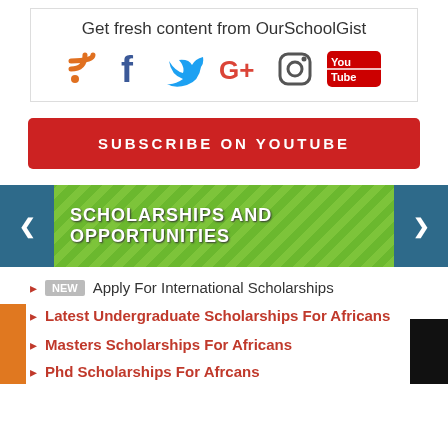Get fresh content from OurSchoolGist
[Figure (infographic): Social media icons: RSS (orange), Facebook (blue f), Twitter (blue bird), Google+ (red G+), Instagram (camera), YouTube (red You/Tube button)]
SUBSCRIBE ON YOUTUBE
SCHOLARSHIPS AND OPPORTUNITIES
Apply For International Scholarships
Latest Undergraduate Scholarships For Africans
Masters Scholarships For Africans
Phd Scholarships For Afrcans